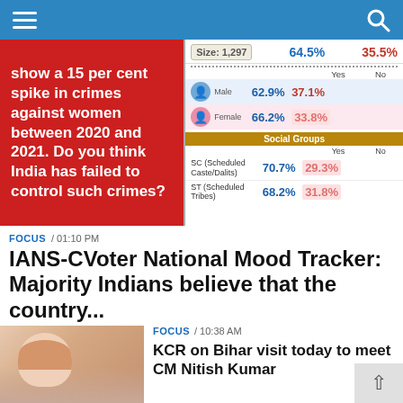Navigation bar with hamburger menu and search icon
[Figure (screenshot): Survey infographic showing crimes against women poll data. Left red panel text: 'show a 15 per cent spike in crimes against women between 2020 and 2021. Do you think India has failed to control such crimes?' Right panel shows survey data: Size: 1,297; Overall: Yes 64.5%, No 35.5%; Male: Yes 62.9%, No 37.1%; Female: Yes 66.2%, No 33.8%; SC (Scheduled Caste/Dalits): Yes 70.7%, No 29.3%; ST (Scheduled Tribes): Yes 68.2%, No 31.8%]
FOCUS / 01:10 PM
IANS-CVoter National Mood Tracker: Majority Indians believe that the country...
[Figure (photo): Photo of KCR (K. Chandrashekar Rao) speaking at a podium]
FOCUS / 10:38 AM
KCR on Bihar visit today to meet CM Nitish Kumar